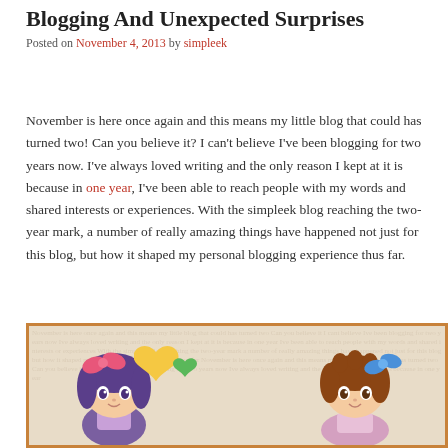Blogging And Unexpected Surprises
Posted on November 4, 2013 by simpleek
November is here once again and this means my little blog that could has turned two! Can you believe it? I can't believe I've been blogging for two years now. I've always loved writing and the only reason I kept at it is because in one year, I've been able to reach people with my words and shared interests or experiences. With the simpleek blog reaching the two-year mark, a number of really amazing things have happened not just for this blog, but how it shaped my personal blogging experience thus far.
[Figure (illustration): Anime-style illustration showing two chibi characters — one with purple hair and a pink bow on the left, and one with brown hair and a blue bow on the right — with colorful heart shapes between them, on a textured background with a decorative orange border.]